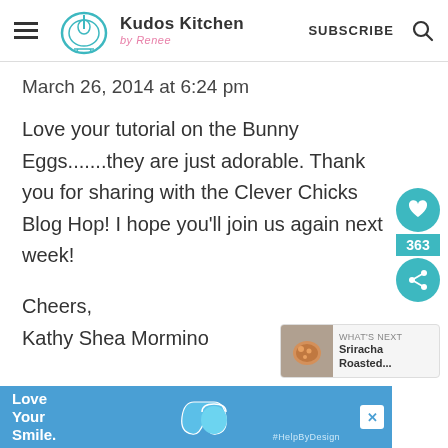Kudos Kitchen by Renee — SUBSCRIBE
March 26, 2014 at 6:24 pm
Love your tutorial on the Bunny Eggs.......they are just adorable. Thank you for sharing with the Clever Chicks Blog Hop! I hope you'll join us again next week!
Cheers,
Kathy Shea Mormino
[Figure (infographic): Ad banner at bottom: 'Love Your Smile.' with blue background, tooth/smile graphic, #HelpByDesign hashtag, and close button]
[Figure (infographic): Side social sharing widget: heart icon (teal), count badge '363', share icon (teal)]
[Figure (infographic): Related post widget: thumbnail of food bowl, text 'Sriracha Roasted...']